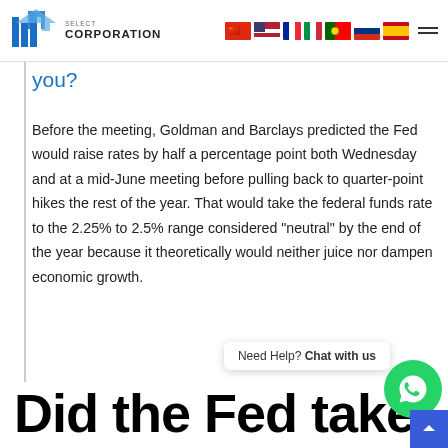BMG Select Corporation — navigation header with logo and language flags
you?
Before the meeting, Goldman and Barclays predicted the Fed would raise rates by half a percentage point both Wednesday and at a mid-June meeting before pulling back to quarter-point hikes the rest of the year. That would take the federal funds rate to the 2.25% to 2.5% range considered “neutral” by the end of the year because it theoretically would neither juice nor dampen economic growth.
Did the Fed take